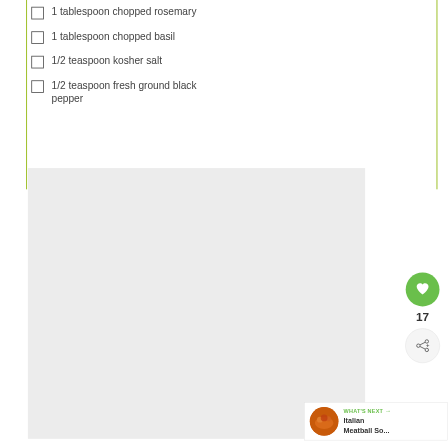1 tablespoon chopped rosemary
1 tablespoon chopped basil
1/2 teaspoon kosher salt
1/2 teaspoon fresh ground black pepper
[Figure (photo): Food photo placeholder area, light gray background]
17
WHAT'S NEXT → Italian Meatball So...